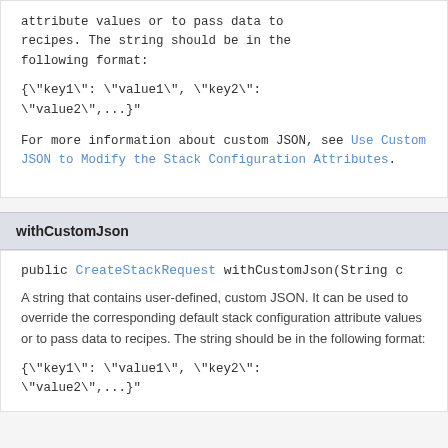attribute values or to pass data to recipes. The string should be in the following format:
{\"key1\": \"value1\", \"key2\": \"value2\",...}
For more information about custom JSON, see Use Custom JSON to Modify the Stack Configuration Attributes.
withCustomJson
public CreateStackRequest withCustomJson(String c
A string that contains user-defined, custom JSON. It can be used to override the corresponding default stack configuration attribute values or to pass data to recipes. The string should be in the following format:
{\"key1\": \"value1\", \"key2\": \"value2\",...}